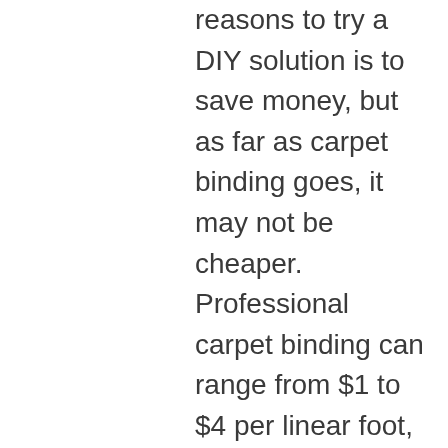reasons to try a DIY solution is to save money, but as far as carpet binding goes, it may not be cheaper. Professional carpet binding can range from $1 to $4 per linear foot, so a 5×7 rug would cost between $24 to $96. Depending on the DIY method, you're